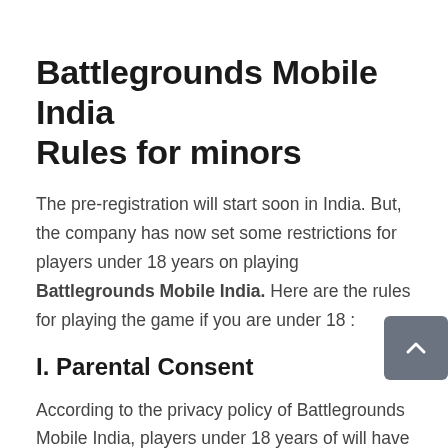Battlegrounds Mobile India Rules for minors
The pre-registration will start soon in India. But, the company has now set some restrictions for players under 18 years on playing Battlegrounds Mobile India. Here are the rules for playing the game if you are under 18 :
I. Parental Consent
According to the privacy policy of Battlegrounds Mobile India, players under 18 years of will have to